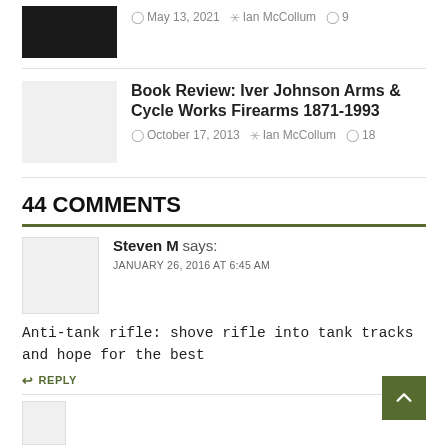[Figure (photo): Small thumbnail image of a firearm, dark background]
May 13, 2021  Ian McCollum  9
Book Review: Iver Johnson Arms & Cycle Works Firearms 1871-1993
October 17, 2013  Ian McCollum  18
44 COMMENTS
Steven M says:
JANUARY 26, 2016 AT 6:45 AM
Anti-tank rifle: shove rifle into tank tracks and hope for the best
REPLY